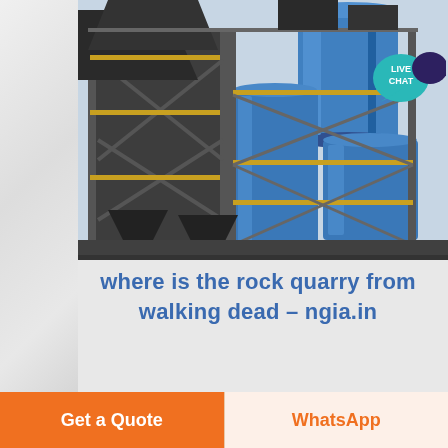[Figure (photo): Industrial plant or quarry dust collection / processing facility with large blue cylindrical tanks/silos, metal scaffolding structure with yellow railings, multiple levels of conveyor or processing equipment, photographed from ground level looking up.]
where is the rock quarry from walking dead – ngia.in
Georgia Laines for…
Get a Quote
WhatsApp